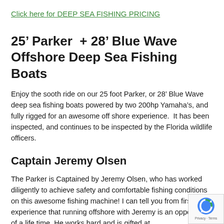Click here for DEEP SEA FISHING PRICING
25’ Parker  + 28’ Blue Wave Offshore Deep Sea Fishing Boats
Enjoy the sooth ride on our 25 foot Parker, or 28’ Blue Wave deep sea fishing boats powered by two 200hp Yamaha’s, and fully rigged for an awesome off shore experience.  It has been inspected, and continues to be inspected by the Florida wildlife officers.
Captain Jeremy Olsen
The Parker is Captained by Jeremy Olsen, who has worked diligently to achieve safety and comfortable fishing conditions on this awesome fishing machine! I can tell you from first experience that running offshore with Jeremy is an opportunity of a life time. He works hard and is gifted at